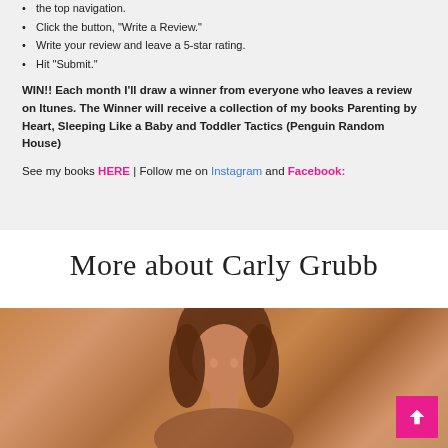the top navigation.
Click the button, "Write a Review."
Write your review and leave a 5-star rating.
Hit "Submit."
WIN!! Each month I'll draw a winner from everyone who leaves a review on Itunes. The Winner will receive a collection of my books Parenting by Heart, Sleeping Like a Baby and Toddler Tactics (Penguin Random House)
See my books HERE | Follow me on Instagram and Facebook:
More about Carly Grubb
[Figure (photo): Portrait photo of Carly Grubb, a woman with auburn/brown hair, warm toned outdoor background]